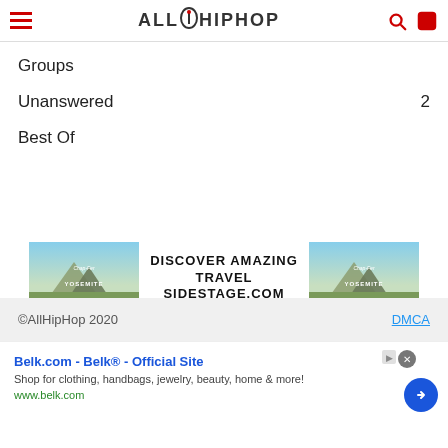ALLHIPHOP
Groups
Unanswered  2
Best Of
[Figure (infographic): Advertisement banner for sidestage.com showing mountain/Yosemite imagery with text DISCOVER AMAZING TRAVEL SIDESTAGE.COM, ezoic badge, and report this ad link]
©AllHipHop 2020    DMCA
[Figure (infographic): Bottom advertisement for Belk.com - Belk Official Site. Text: Shop for clothing, handbags, jewelry, beauty, home & more! www.belk.com]